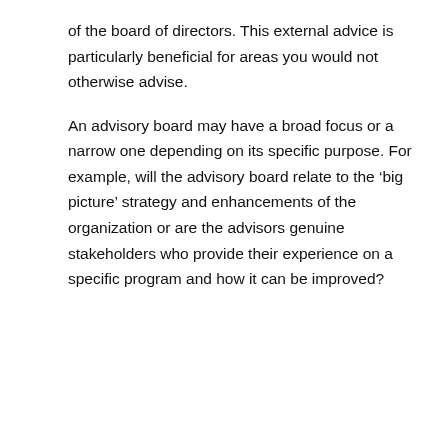of the board of directors. This external advice is particularly beneficial for areas you would not otherwise advise.
An advisory board may have a broad focus or a narrow one depending on its specific purpose. For example, will the advisory board relate to the ‘big picture’ strategy and enhancements of the organization or are the advisors genuine stakeholders who provide their experience on a specific program and how it can be improved?